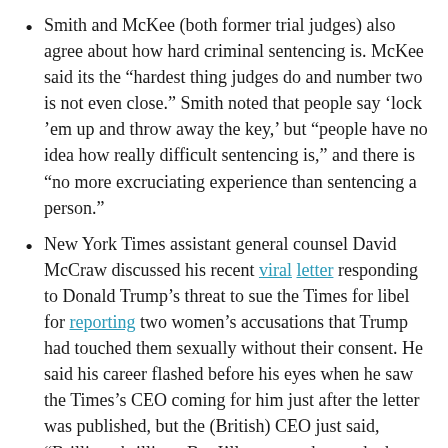Smith and McKee (both former trial judges) also agree about how hard criminal sentencing is. McKee said its the “hardest thing judges do and number two is not even close.” Smith noted that people say ‘lock ’em up and throw away the key,’ but “people have no idea how really difficult sentencing is,” and there is “no more excruciating experience than sentencing a person.”
New York Times assistant general counsel David McCraw discussed his recent viral letter responding to Donald Trump’s threat to sue the Times for libel for reporting two women’s accusations that Trump had touched them sexually without their consent. He said his career flashed before his eyes when he saw the Times’s CEO coming for him just after the letter was published, but the (British) CEO just said, “Brilliant, brilliant. But I’ll never understand why you Americans capitalize after colons.” He also movingly described a letter he received from Martin Luther King Jr.’s lawyer on how much it meant for the Times to stand up, then and